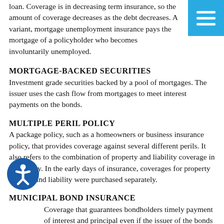loan. Coverage is in decreasing term insurance, so the amount of coverage decreases as the debt decreases. A variant, mortgage unemployment insurance pays the mortgage of a policyholder who becomes involuntarily unemployed.
MORTGAGE-BACKED SECURITIES
Investment grade securities backed by a pool of mortgages. The issuer uses the cash flow from mortgages to meet interest payments on the bonds.
MULTIPLE PERIL POLICY
A package policy, such as a homeowners or business insurance policy, that provides coverage against several different perils. It also refers to the combination of property and liability coverage in one policy. In the early days of insurance, coverages for property damage and liability were purchased separately.
MUNICIPAL BOND INSURANCE
Coverage that guarantees bondholders timely payment of interest and principal even if the issuer of the bonds defaults. Offered by insurance companies with high credit ratings, the coverage raises the credit rating of a